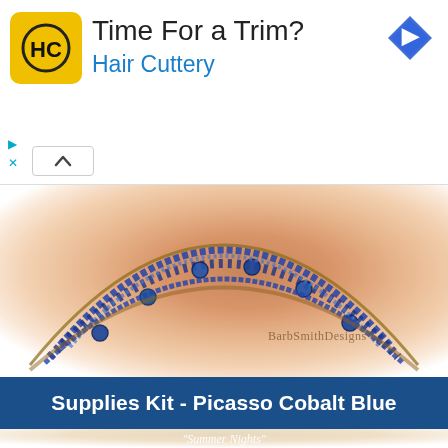[Figure (infographic): Hair Cuttery advertisement banner with yellow HC logo, text 'Time For a Trim?' and 'Hair Cuttery' in blue, blue diamond navigation icon top right, play and close icons bottom left]
[Figure (photo): Close-up photo of a cobalt blue beaded wrap bracelet on a sandy/peach background with watermark 'BarbSmithDesigns']
Supplies Kit - Picasso Cobalt Blue
[Figure (photo): Photo of a leather wrap bracelet labeled 'Summer Nights' with blue and silver beads and a decorative silver button clasp]